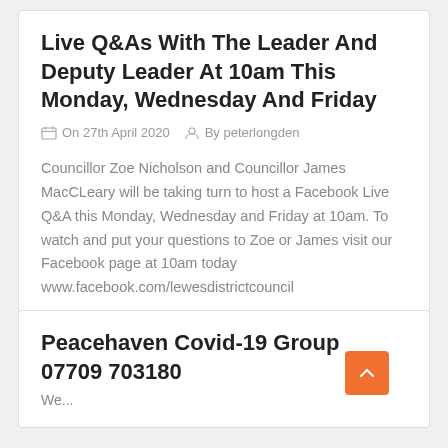Live Q&As With The Leader And Deputy Leader At 10am This Monday, Wednesday And Friday
On 27th April 2020   By peterlongden
Councillor Zoe Nicholson and Councillor James MacCLeary will be taking turn to host a Facebook Live Q&A this Monday, Wednesday and Friday at 10am. To watch and put your questions to Zoe or James visit our Facebook page at 10am today www.facebook.com/lewesdistrictcouncil
Community,
Peacehaven Covid-19 Group 07709 703180
We...